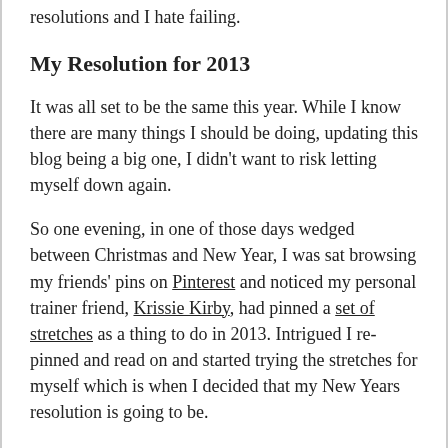resolutions and I hate failing.
My Resolution for 2013
It was all set to be the same this year. While I know there are many things I should be doing, updating this blog being a big one, I didn't want to risk letting myself down again.
So one evening, in one of those days wedged between Christmas and New Year, I was sat browsing my friends' pins on Pinterest and noticed my personal trainer friend, Krissie Kirby, had pinned a set of stretches as a thing to do in 2013. Intrigued I re-pinned and read on and started trying the stretches for myself which is when I decided that my New Years resolution is going to be.
Hopefully by the end of 2013, I will be able to do the splits. I'm going for both front and side splits but if I can do one or the other, I'll be satisfied. I started doing the stretches before New Year and have so far succeeded in